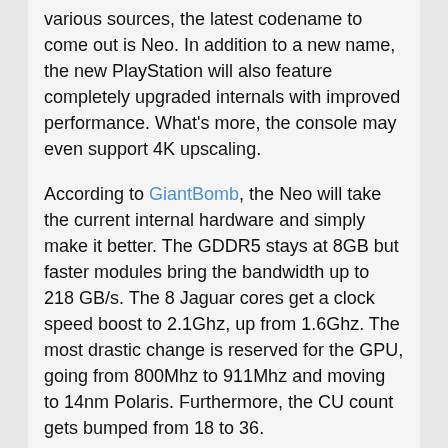various sources, the latest codename to come out is Neo. In addition to a new name, the new PlayStation will also feature completely upgraded internals with improved performance. What's more, the console may even support 4K upscaling.
According to GiantBomb, the Neo will take the current internal hardware and simply make it better. The GDDR5 stays at 8GB but faster modules bring the bandwidth up to 218 GB/s. The 8 Jaguar cores get a clock speed boost to 2.1Ghz, up from 1.6Ghz. The most drastic change is reserved for the GPU, going from 800Mhz to 911Mhz and moving to 14nm Polaris. Furthermore, the CU count gets bumped from 18 to 36.
If Polaris keeps the number of stream processors in each CU, this means the GPU will have 2304 cores. This is smack where Polaris 10 is expected to be and will be a 290X/390X replacement, crazy for a console. What's more likely is that AMD has shrunk the number of cores per CU with Polaris which would help with the promised efficiency